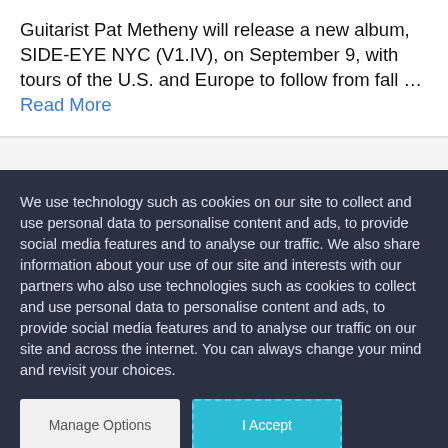Guitarist Pat Metheny will release a new album, SIDE-EYE NYC (V1.IV), on September 9, with tours of the U.S. and Europe to follow from fall … Read More
We use technology such as cookies on our site to collect and use personal data to personalise content and ads, to provide social media features and to analyse our traffic. We also share information about your use of our site and interests with our partners who also use technologies such as cookies to collect and use personal data to personalise content and ads, to provide social media features and to analyse our traffic on our site and across the internet. You can always change your mind and revisit your choices.